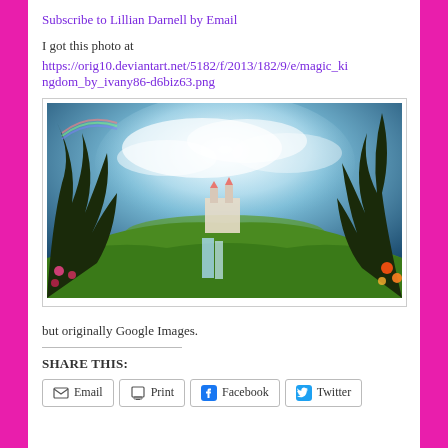Subscribe to Lillian Darnell by Email
I got this photo at https://orig10.deviantart.net/5182/f/2013/182/9/e/magic_kingdom_by_ivany86-d6biz63.png
[Figure (illustration): Fantasy digital art illustration showing a magical kingdom with floating islands, waterfalls, a castle with pink towers, lush green landscape, twisted dark trees in the foreground, colorful flowers, and a dramatic swirling blue sky.]
but originally Google Images.
SHARE THIS:
Email
Print
Facebook
Twitter